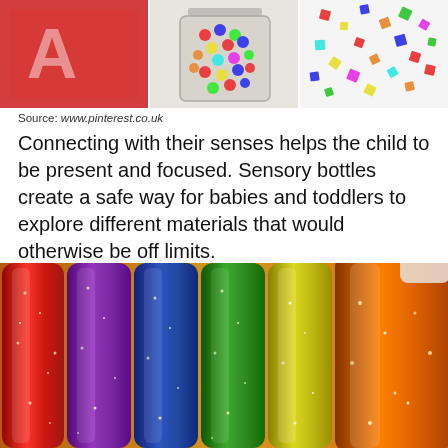[Figure (photo): Three photos in a row: red card with letter A, jar of colorful beads, colorful confetti pieces]
Source: www.pinterest.co.uk
Connecting with their senses helps the child to be present and focused. Sensory bottles create a safe way for babies and toddlers to explore different materials that would otherwise be off limits.
[Figure (photo): Rainbow colored glitter sensory bottles arranged in a row from red to orange]